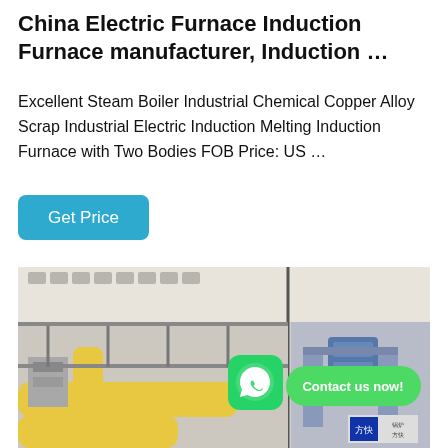China Electric Furnace Induction Furnace manufacturer, Induction …
Excellent Steam Boiler Industrial Chemical Copper Alloy Scrap Industrial Electric Induction Melting Induction Furnace with Two Bodies FOB Price: US …
Get Price
[Figure (photo): Industrial facility interior showing yellow pipes and metallic equipment. A WhatsApp icon with 'Contact us now!' button overlay is displayed on the image.]